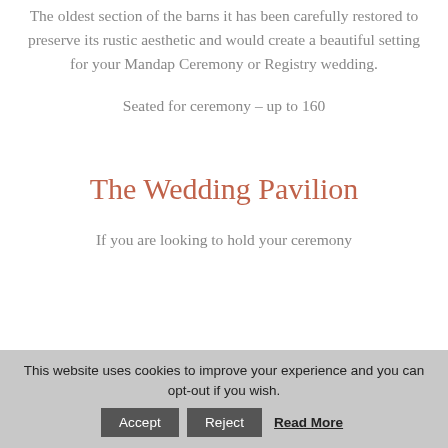The oldest section of the barns it has been carefully restored to preserve its rustic aesthetic and would create a beautiful setting for your Mandap Ceremony or Registry wedding.
Seated for ceremony – up to 160
The Wedding Pavilion
If you are looking to hold your ceremony
This website uses cookies to improve your experience and you can opt-out if you wish. Accept Reject Read More